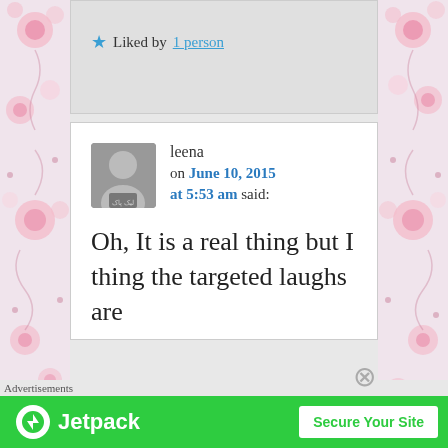★ Liked by 1 person
leena on June 10, 2015 at 5:53 am said:
Oh, It is a real thing but I thing the targeted laughs are
Advertisements
[Figure (screenshot): Jetpack advertisement banner with green background showing Jetpack logo and 'Secure Your Site' button]